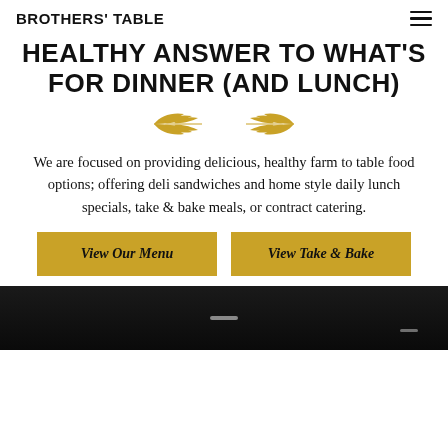BROTHERS' TABLE
HEALTHY ANSWER TO WHAT'S FOR DINNER (AND LUNCH)
[Figure (illustration): Decorative golden wheat/leaf ornament divider]
We are focused on providing delicious, healthy farm to table food options; offering deli sandwiches and home style daily lunch specials, take & bake meals, or contract catering.
View Our Menu
View Take & Bake
[Figure (photo): Dark photograph of food or restaurant interior, partially visible at bottom of page]